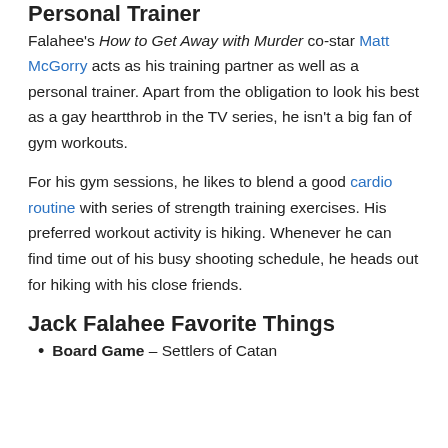Personal Trainer
Falahee's How to Get Away with Murder co-star Matt McGorry acts as his training partner as well as a personal trainer. Apart from the obligation to look his best as a gay heartthrob in the TV series, he isn't a big fan of gym workouts.
For his gym sessions, he likes to blend a good cardio routine with series of strength training exercises. His preferred workout activity is hiking. Whenever he can find time out of his busy shooting schedule, he heads out for hiking with his close friends.
Jack Falahee Favorite Things
Board Game – Settlers of Catan